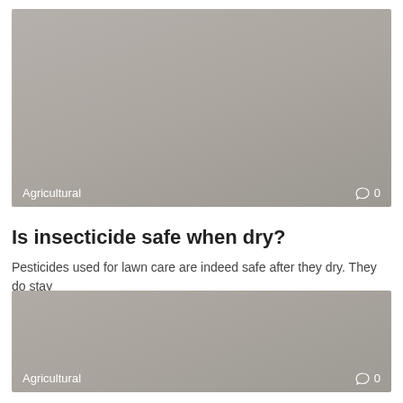[Figure (photo): Gray placeholder image card with 'Agricultural' label and comment count '0' at the bottom left and right respectively]
Is insecticide safe when dry?
Pesticides used for lawn care are indeed safe after they dry. They do stay
[Figure (photo): Gray placeholder image card with 'Agricultural' label and comment count '0' at the bottom left and right respectively]